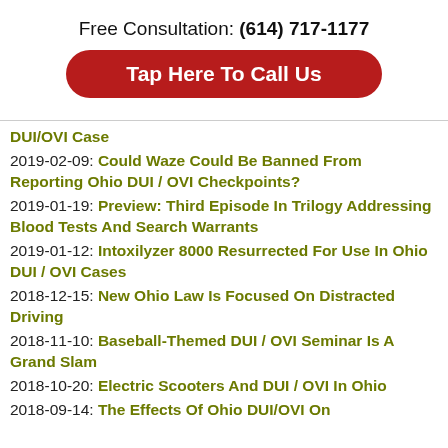Free Consultation: (614) 717-1177
Tap Here To Call Us
DUI/OVI Case
2019-02-09: Could Waze Could Be Banned From Reporting Ohio DUI / OVI Checkpoints?
2019-01-19: Preview: Third Episode In Trilogy Addressing Blood Tests And Search Warrants
2019-01-12: Intoxilyzer 8000 Resurrected For Use In Ohio DUI / OVI Cases
2018-12-15: New Ohio Law Is Focused On Distracted Driving
2018-11-10: Baseball-Themed DUI / OVI Seminar Is A Grand Slam
2018-10-20: Electric Scooters And DUI / OVI In Ohio
2018-09-14: The Effects Of Ohio DUI/OVI On